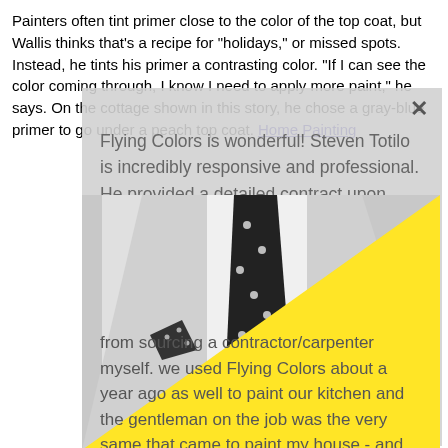Painters often tint primer close to the color of the top coat, but Wallis thinks that's a recipe for "holidays," or missed spots. Instead, he tints his primer a contrasting color. "If I can see the color coming through, I know I need to apply more paint," he says. On the cottage shown in this story, he chose a gray-blue primer to go under a peach top coat. Home Painting
Flying Colors is wonderful! Steven Totilo is incredibly responsive and professional. He provided a detailed contract upon assessment of t...
[Figure (photo): Black and white photo of a man in a white suit with a black polka-dot tie and matching pocket square, overlaid with a large bright yellow triangle in the lower-right portion of the image.]
from sourcing a contractor/carpenter myself. we used Flying Colors about a year ago as well to paint our kitchen and the gentleman on the job was the very same that came to paint my house - and he remembered me! They did a wonderful